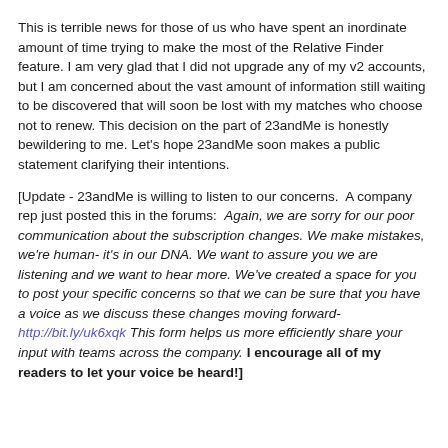This is terrible news for those of us who have spent an inordinate amount of time trying to make the most of the Relative Finder feature. I am very glad that I did not upgrade any of my v2 accounts, but I am concerned about the vast amount of information still waiting to be discovered that will soon be lost with my matches who choose not to renew. This decision on the part of 23andMe is honestly bewildering to me. Let's hope 23andMe soon makes a public statement clarifying their intentions.
[Update - 23andMe is willing to listen to our concerns. A company rep just posted this in the forums: Again, we are sorry for our poor communication about the subscription changes. We make mistakes, we're human- it's in our DNA. We want to assure you we are listening and we want to hear more. We've created a space for you to post your specific concerns so that we can be sure that you have a voice as we discuss these changes moving forward- http://bit.ly/uk6xqk This form helps us more efficiently share your input with teams across the company. I encourage all of my readers to let your voice be heard!]